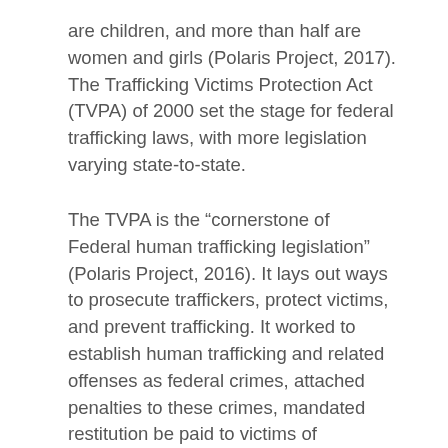are children, and more than half are women and girls (Polaris Project, 2017). The Trafficking Victims Protection Act (TVPA) of 2000 set the stage for federal trafficking laws, with more legislation varying state-to-state.
The TVPA is the “cornerstone of Federal human trafficking legislation” (Polaris Project, 2016). It lays out ways to prosecute traffickers, protect victims, and prevent trafficking. It worked to establish human trafficking and related offenses as federal crimes, attached penalties to these crimes, mandated restitution be paid to victims of trafficking, and established the Office to Monitor and Combat Trafficking in Persons which publishes the TIP report